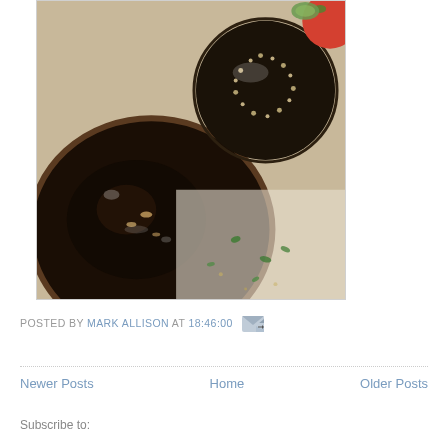[Figure (photo): Close-up food photo showing a glass bowl of dark sauce with sesame seeds and garlic, next to a dark sesame-crusted item (food), with tomato and cucumber in background, herbs scattered on a light surface]
POSTED BY MARK ALLISON AT 18:46:00
Newer Posts | Home | Older Posts
Subscribe to: